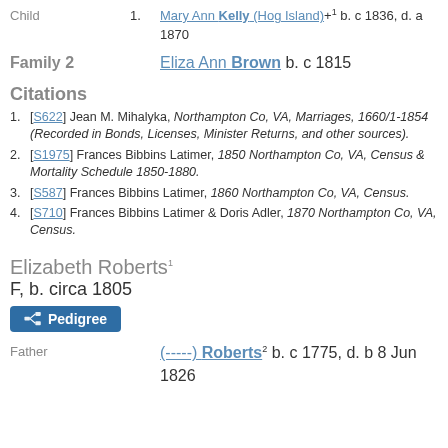Child 1. Mary Ann Kelly (Hog Island)+¹ b. c 1836, d. a 1870
Family 2 Eliza Ann Brown b. c 1815
Citations
1. [S622] Jean M. Mihalyka, Northampton Co, VA, Marriages, 1660/1-1854 (Recorded in Bonds, Licenses, Minister Returns, and other sources).
2. [S1975] Frances Bibbins Latimer, 1850 Northampton Co, VA, Census & Mortality Schedule 1850-1880.
3. [S587] Frances Bibbins Latimer, 1860 Northampton Co, VA, Census.
4. [S710] Frances Bibbins Latimer & Doris Adler, 1870 Northampton Co, VA, Census.
Elizabeth Roberts¹
F, b. circa 1805
Pedigree
Father (-----) Roberts² b. c 1775, d. b 8 Jun 1826